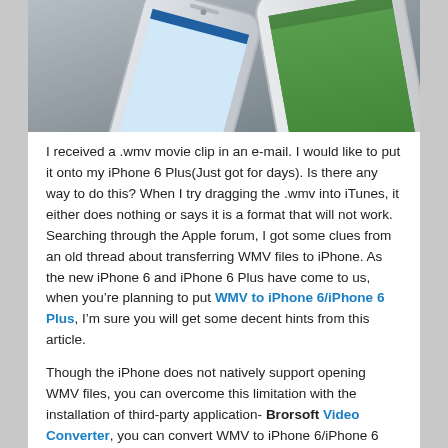[Figure (photo): Two iPhones (iPhone 5s and iPhone 6/6 Plus concept) overlapping on a gray surface, showing home screens with app icons.]
I received a .wmv movie clip in an e-mail. I would like to put it onto my iPhone 6 Plus(Just got for days). Is there any way to do this? When I try dragging the .wmv into iTunes, it either does nothing or says it is a format that will not work. Searching through the Apple forum, I got some clues from an old thread about transferring WMV files to iPhone. As the new iPhone 6 and iPhone 6 Plus have come to us, when you’re planning to put WMV to iPhone 6/iPhone 6 Plus, I’m sure you will get some decent hints from this article.
Though the iPhone does not natively support opening WMV files, you can overcome this limitation with the installation of third-party application- Brorsoft Video Converter, you can convert WMV to iPhone 6/iPhone 6